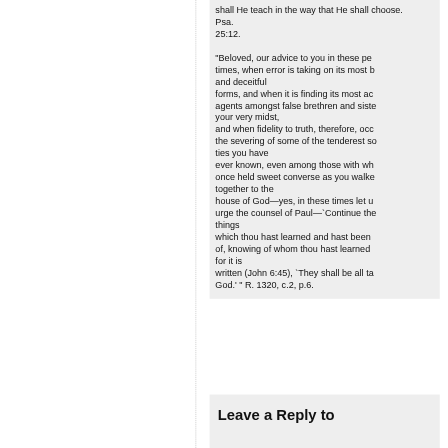shall He teach in the way that He shall choose. Psa. 25:12. "Beloved, our advice to you in these perilous times, when error is taking on its most bold and deceitful forms, and when it is finding its most active agents amongst false brethren and sisters in your very midst, and when fidelity to truth, therefore, occasions the severing of some of the tenderest social ties you have ever known, even among those with whom you once held sweet converse as you walked together to the house of God—yes, in these times let us urge the counsel of Paul—`Continue the things which thou hast learned and hast been assured of, knowing of whom thou hast learned them; for it is written (John 6:45), `They shall be all taught of God.' " R. 1320, c.2, p.6.
Leave a Reply to